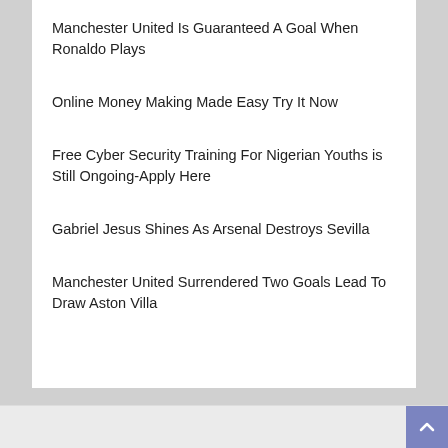Manchester United Is Guaranteed A Goal When Ronaldo Plays
Online Money Making Made Easy Try It Now
Free Cyber Security Training For Nigerian Youths is Still Ongoing-Apply Here
Gabriel Jesus Shines As Arsenal Destroys Sevilla
Manchester United Surrendered Two Goals Lead To Draw Aston Villa